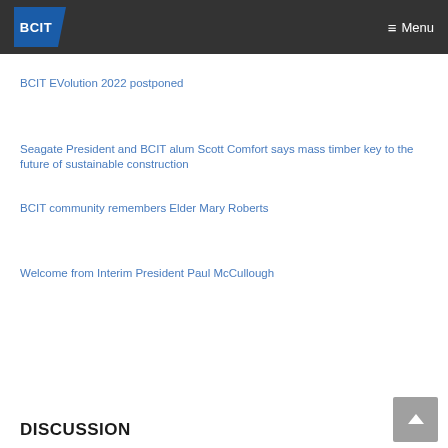BCIT Menu
BCIT EVolution 2022 postponed
Seagate President and BCIT alum Scott Comfort says mass timber key to the future of sustainable construction
BCIT community remembers Elder Mary Roberts
Welcome from Interim President Paul McCullough
DISCUSSION